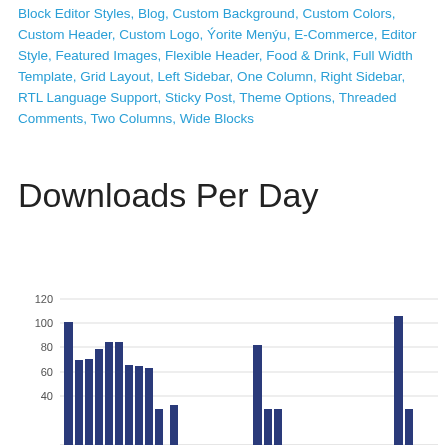Block Editor Styles, Blog, Custom Background, Custom Colors, Custom Header, Custom Logo, Ýorite Menýu, E-Commerce, Editor Style, Featured Images, Flexible Header, Food & Drink, Full Width Template, Grid Layout, Left Sidebar, One Column, Right Sidebar, RTL Language Support, Sticky Post, Theme Options, Threaded Comments, Two Columns, Wide Blocks
Downloads Per Day
[Figure (bar-chart): Downloads Per Day]